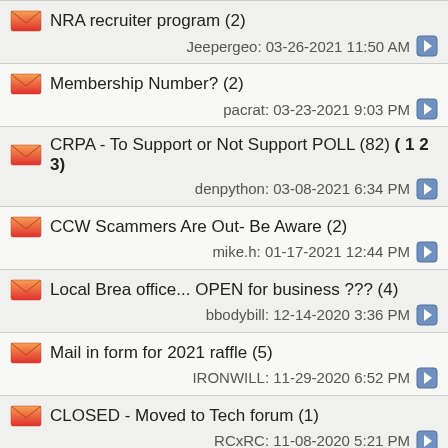NRA recruiter program (2) — Jeepergeo: 03-26-2021 11:50 AM
Membership Number? (2) — pacrat: 03-23-2021 9:03 PM
CRPA - To Support or Not Support POLL (82) ( 1 2 3) — denpython: 03-08-2021 6:34 PM
CCW Scammers Are Out- Be Aware (2) — mike.h: 01-17-2021 12:44 PM
Local Brea office... OPEN for business ??? (4) — bbodybill: 12-14-2020 3:36 PM
Mail in form for 2021 raffle (5) — IRONWILL: 11-29-2020 6:52 PM
CLOSED - Moved to Tech forum (1) — RCxRC: 11-08-2020 5:21 PM
Donation vs. Membership? (11)